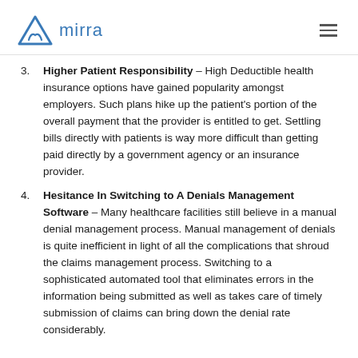mirra
3. Higher Patient Responsibility – High Deductible health insurance options have gained popularity amongst employers. Such plans hike up the patient's portion of the overall payment that the provider is entitled to get. Settling bills directly with patients is way more difficult than getting paid directly by a government agency or an insurance provider.
4. Hesitance In Switching to A Denials Management Software – Many healthcare facilities still believe in a manual denial management process. Manual management of denials is quite inefficient in light of all the complications that shroud the claims management process. Switching to a sophisticated automated tool that eliminates errors in the information being submitted as well as takes care of timely submission of claims can bring down the denial rate considerably.